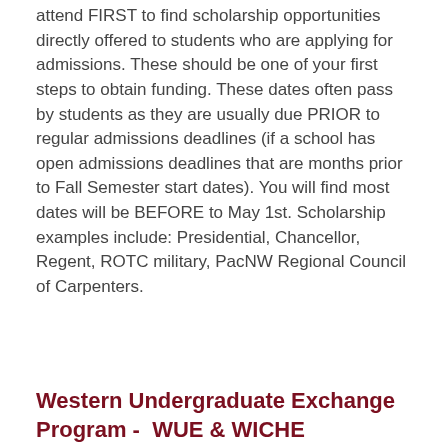attend FIRST to find scholarship opportunities directly offered to students who are applying for admissions. These should be one of your first steps to obtain funding. These dates often pass by students as they are usually due PRIOR to regular admissions deadlines (if a school has open admissions deadlines that are months prior to Fall Semester start dates). You will find most dates will be BEFORE to May 1st. Scholarship examples include: Presidential, Chancellor, Regent, ROTC military, PacNW Regional Council of Carpenters.
Western Undergraduate Exchange Program -  WUE & WICHE